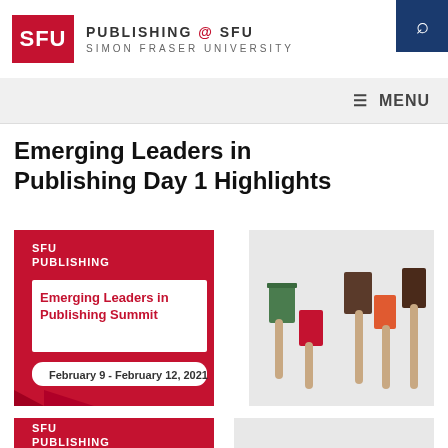PUBLISHING @ SFU — SIMON FRASER UNIVERSITY
Emerging Leaders in Publishing Day 1 Highlights
[Figure (screenshot): SFU Publishing banner for Emerging Leaders in Publishing Summit, February 9 - February 12, 2021, with photo of people holding books up overhead]
[Figure (screenshot): Partial SFU Publishing banner (second, cropped at bottom of page)]